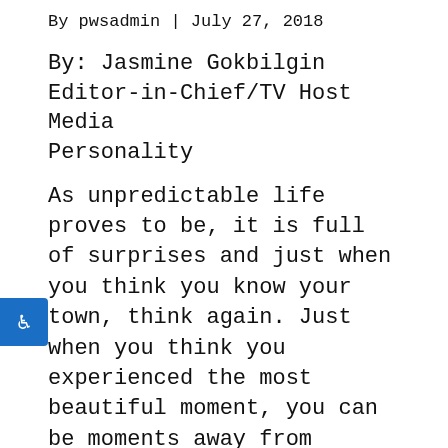By pwsadmin | July 27, 2018
By: Jasmine Gokbilgin
Editor-in-Chief/TV Host Media Personality
As unpredictable life proves to be, it is full of surprises and just when you think you know your town, think again. Just when you think you experienced the most beautiful moment, you can be moments away from experiencing another one, it's just a matter of being open and inviting to what Life has to bring your way. This being said it